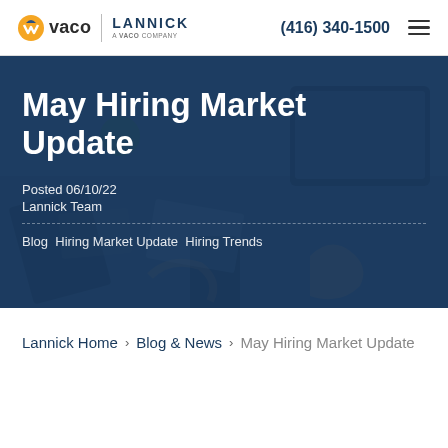vaco | LANNICK A VACO COMPANY  (416) 340-1500
May Hiring Market Update
Posted 06/10/22
Lannick Team
Blog Hiring Market Update Hiring Trends
Lannick Home > Blog & News > May Hiring Market Update